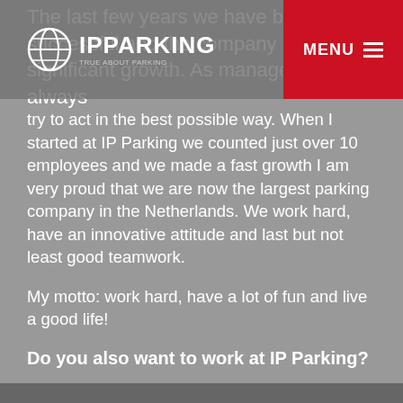IPPARKING — True About Parking
The last few years we have been very successful and the company has shown significant growth. As management we always try to act in the best possible way. When I started at IP Parking we counted just over 10 employees and we made a fast growth I am very proud that we are now the largest parking company in the Netherlands. We work hard, have an innovative attitude and last but not least good teamwork.
My motto: work hard, have a lot of fun and live a good life!
Do you also want to work at IP Parking?